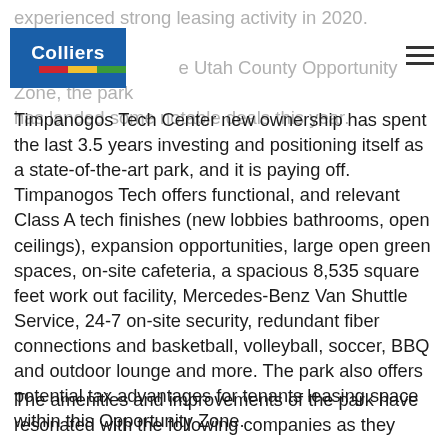experienced strong leasing activity in 2020. Located in a are Utah County Opportunity Zone, the park has landed some notable deals this year.
Timpanogos Tech Center new ownership has spent the last 3.5 years investing and positioning itself as a state-of-the-art park, and it is paying off. Timpanogos Tech offers functional, and relevant Class A tech finishes (new lobbies bathrooms, open ceilings), expansion opportunities, large open green spaces, on-site cafeteria, a spacious 8,535 square feet work out facility, Mercedes-Benz Van Shuttle Service, 24-7 on-site security, redundant fiber connections and basketball, volleyball, soccer, BBQ and outdoor lounge and more. The park also offers potential tax advantages for tenants leasing space within this Opportunity Zone.
The amenities and improvements of the park have resonated with the following companies as they